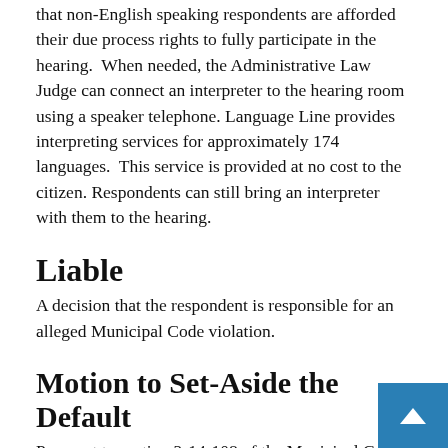that non-English speaking respondents are afforded their due process rights to fully participate in the hearing.  When needed, the Administrative Law Judge can connect an interpreter to the hearing room using a speaker telephone. Language Line provides interpreting services for approximately 174 languages.  This service is provided at no cost to the citizen. Respondents can still bring an interpreter with them to the hearing.
Liable
A decision that the respondent is responsible for an alleged Municipal Code violation.
Motion to Set-Aside the Default
Pursuant to section 2-14-108 of the Municipal Code of Chicago, a party may file a written motion to set-aside the default order. The motion must 1) be filed within twenty-one days after the issuance of the default order and 2) present a good cause for the